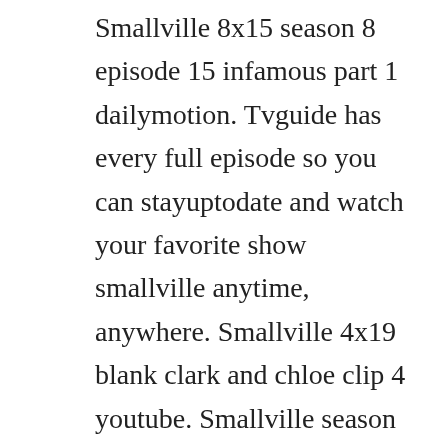Smallville 8x15 season 8 episode 15 infamous part 1 dailymotion. Tvguide has every full episode so you can stayuptodate and watch your favorite show smallville anytime, anywhere. Smallville 4x19 blank clark and chloe clip 4 youtube. Smallville season 3 episode 16 watch online the full episode. Az smallville season 2, episode 15 cimu videot csajvidi nevu felhasznalo toltotte fel az vicces kategoriaba. Once upon a time season 7 episode 8 prety in blue 7x8 full. Reviewed in the united states on november 15, 2010. Season 2, episode 7 november 5, 2002 a